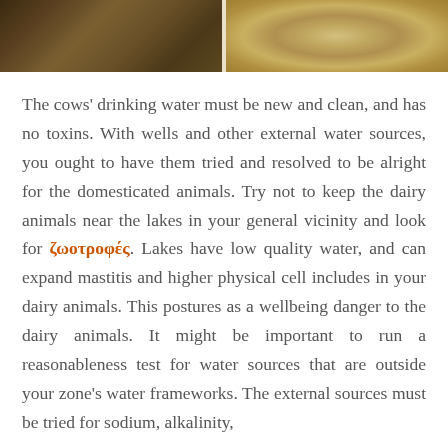[Figure (photo): Two photographs side by side: left shows hay/straw and farm materials in dark tones, right shows grains/seeds in a bowl with warm golden tones.]
The cows' drinking water must be new and clean, and has no toxins. With wells and other external water sources, you ought to have them tried and resolved to be alright for the domesticated animals. Try not to keep the dairy animals near the lakes in your general vicinity and look for ζωοτροφές. Lakes have low quality water, and can expand mastitis and higher physical cell includes in your dairy animals. This postures as a wellbeing danger to the dairy animals. It might be important to run a reasonableness test for water sources that are outside your zone's water frameworks. The external sources must be tried for sodium, alkalinity,